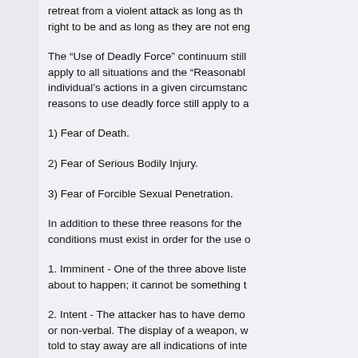retreat from a violent attack as long as they are where they have a right to be and as long as they are not engaged in criminal activity.
The “Use of Deadly Force” continuum still apply to all situations and the “Reasonable individual’s actions in a given circumstance reasons to use deadly force still apply to a
1) Fear of Death.
2) Fear of Serious Bodily Injury.
3) Fear of Forcible Sexual Penetration.
In addition to these three reasons for the conditions must exist in order for the use o
1. Imminent - One of the three above listed about to happen; it cannot be something t
2. Intent - The attacker has to have demo or non-verbal. The display of a weapon, w told to stay away are all indications of inte
3. Ability – The attacker has to have the a If someone says they are going to shoot y